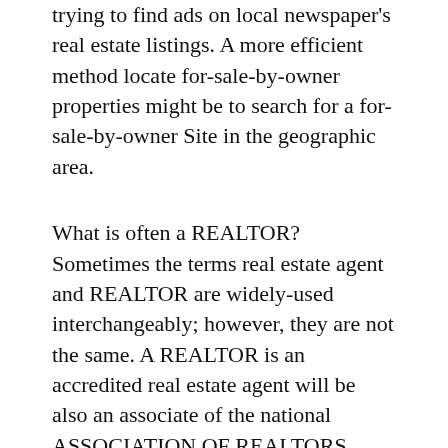trying to find ads on local newspaper's real estate listings. A more efficient method locate for-sale-by-owner properties might be to search for a for-sale-by-owner Site in the geographic area.
What is often a REALTOR? Sometimes the terms real estate agent and REALTOR are widely-used interchangeably; however, they are not the same. A REALTOR is an accredited real estate agent will be also an associate of the national ASSOCIATION OF REALTORS. REALTORS are required to comply by using a strict code of ethics and conduct.
MLS and CIE property listing information was historically only for hard copy, and as we